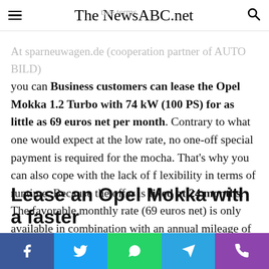The NewsABC.net
At sparneuwagen.de (cooperation partner of AUTO BILD) you can Business customers can lease the Opel Mokka 1.2 Turbo with 74 kW (100 PS) for as little as 69 euros net per month. Contrary to what one would expect at the low rate, no one-off special payment is required for the mocha. That's why you can also cope with the lack of flexibility in terms of runtime. Because the offer is fixed at 24 months. The favorable monthly rate (69 euros net) is only available in combination with an annual mileage of 5000 kilometers. If that's not enough for you, you can double the kilometers per year to 10,000 km, the rate then rises to 85 euros net. (Calculate maintenance costs? To the car insurance comparison)
Lease an Opel Mokka with a faster